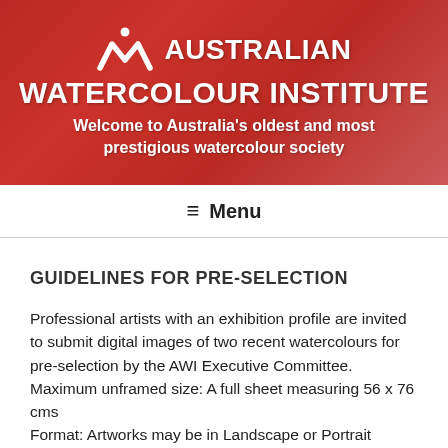[Figure (other): Australian Watercolour Institute header banner with red/pink watercolour background, AWI logo (stylized M-shape), organization name and tagline in white text]
≡ Menu
GUIDELINES FOR PRE-SELECTION
Professional artists with an exhibition profile are invited to submit digital images of two recent watercolours for pre-selection by the AWI Executive Committee.
Maximum unframed size: A full sheet measuring 56 x 76 cms
Format: Artworks may be in Landscape or Portrait format.